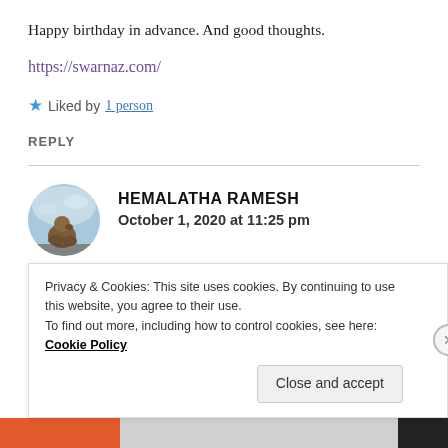Happy birthday in advance. And good thoughts.
https://swarnaz.com/
★ Liked by 1 person
REPLY
[Figure (photo): Circular avatar photo of a bird against a blue sky background]
HEMALATHA RAMESH
October 1, 2020 at 11:25 pm
Privacy & Cookies: This site uses cookies. By continuing to use this website, you agree to their use. To find out more, including how to control cookies, see here: Cookie Policy
Close and accept